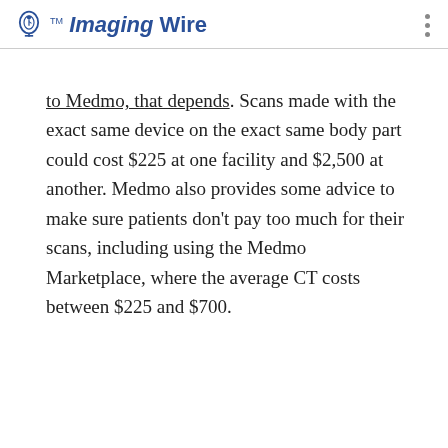Imaging Wire
to Medmo, that depends. Scans made with the exact same device on the exact same body part could cost $225 at one facility and $2,500 at another. Medmo also provides some advice to make sure patients don't pay too much for their scans, including using the Medmo Marketplace, where the average CT costs between $225 and $700.